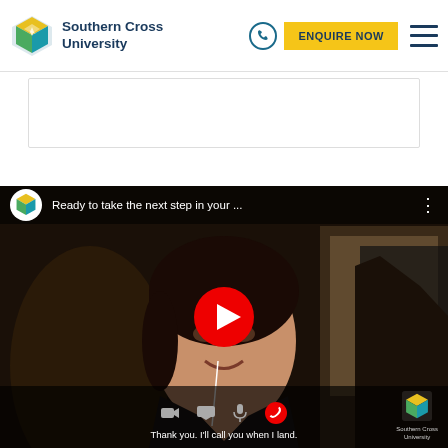Southern Cross University — ENQUIRE NOW
[Figure (screenshot): White card placeholder below navigation header]
[Figure (screenshot): YouTube video thumbnail showing a woman smiling in a car during a video call. Title: 'Ready to take the next step in your ...' with SCU logo. Subtitle text: 'Thank you. I'll call you when I land.' Red YouTube play button in center. Bottom control icons visible.]